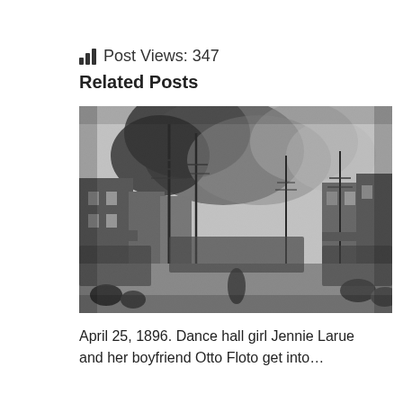Post Views: 347
Related Posts
[Figure (photo): Black and white historical photograph showing a crowded street scene with large plumes of smoke rising above buildings. Utility poles line the street, crowds of people fill the road, and buildings are visible on both sides. The scene appears to depict a fire or major incident in a busy commercial district, circa late 1800s.]
April 25, 1896. Dance hall girl Jennie Larue and her boyfriend Otto Floto get into…